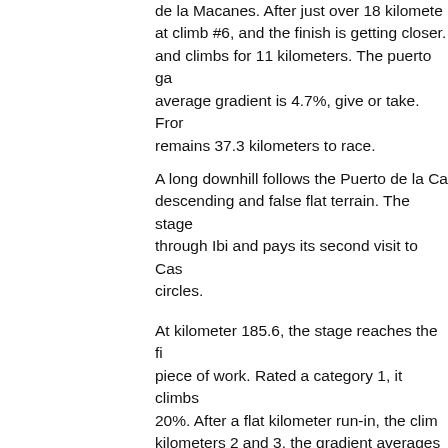de la Macanes. After just over 18 kilometers at climb #6, and the finish is getting closer. and climbs for 11 kilometers. The puerto ga average gradient is 4.7%, give or take. Fro remains 37.3 kilometers to race.
A long downhill follows the Puerto de la Ca descending and false flat terrain. The stage through Ibi and pays its second visit to Cas circles.
At kilometer 185.6, the stage reaches the fi piece of work. Rated a category 1, it climbs 20%. After a flat kilometer run-in, the clim kilometers 2 and 3, the gradient averages 8. 14.5%, and the final kilometer at 10.6%. Sp ramps at 15%, 17%, and 20% gradients. Th 1100 meters above sea level with 3.2 kilom
From the summit of the finishing climb, it's The descent is short enough that the gaps o small group will reform to contest the finis a short climb of less than a kilometer to the